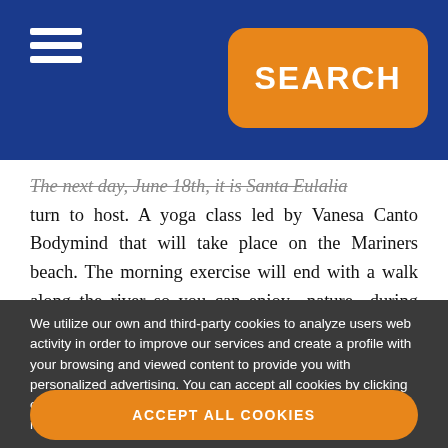SEARCH
The next day, June 18th, it is Santa Eulalia turn to host. A yoga class led by Vanesa Canto Bodymind that will take place on the Mariners beach. The morning exercise will end with a walk along the river so you can enjoy nature during your practice, meditation, and a stroll. If you are looking for accommodation for Ibiza Yoga Week 2022...
We utilize our own and third-party cookies to analyze users web activity in order to improve our services and create a profile with your browsing and viewed content to provide you with personalized advertising. You can accept all cookies by clicking on "Accept All Cookies", or reject or modify their use here. For more information read our Cookies Policy
ACCEPT ALL COOKIES